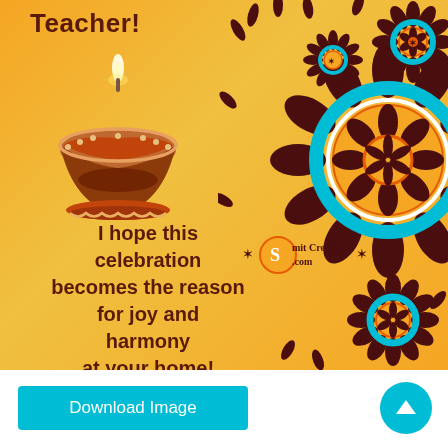[Figure (illustration): Diwali greeting card with golden/orange background, a diya (oil lamp) on the left, decorative mandala floral patterns on the right in teal, orange, and dark brown. Text reads 'Teacher!' at top and 'I hope this celebration becomes the reason for joy and harmony at your home!' below the diya. SmitCreation.com watermark visible.]
Download Image